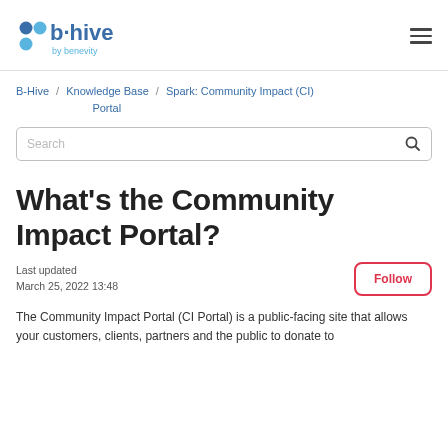b·hive by benevity
B-Hive / Knowledge Base / Spark: Community Impact (CI) Portal
Search
What's the Community Impact Portal?
Last updated
March 25, 2022 13:48
Follow
The Community Impact Portal (CI Portal) is a public-facing site that allows your customers, clients, partners and the public to donate to